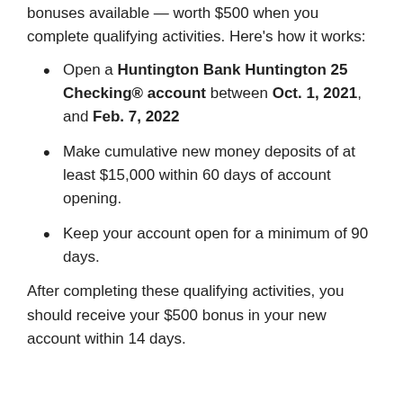bonuses available — worth $500 when you complete qualifying activities. Here's how it works:
Open a Huntington Bank Huntington 25 Checking® account between Oct. 1, 2021, and Feb. 7, 2022
Make cumulative new money deposits of at least $15,000 within 60 days of account opening.
Keep your account open for a minimum of 90 days.
After completing these qualifying activities, you should receive your $500 bonus in your new account within 14 days.